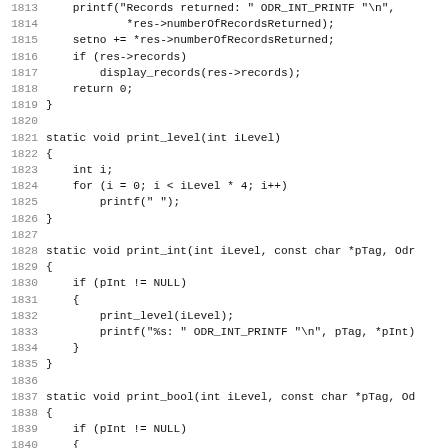Source code listing, lines 1813-1845, showing C functions: printf records returned, setno increment, display_records call, print_level function, print_int function, print_bool function.